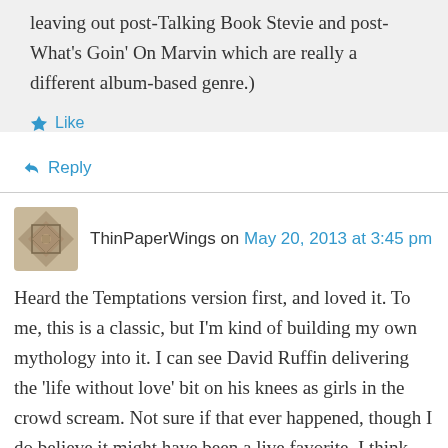leaving out post-Talking Book Stevie and post-What's Goin' On Marvin which are really a different album-based genre.)
Like
Reply
ThinPaperWings on May 20, 2013 at 3:45 pm
Heard the Temptations version first, and loved it. To me, this is a classic, but I'm kind of building my own mythology into it. I can see David Ruffin delivering the 'life without love' bit on his knees as girls in the crowd scream. Not sure if that ever happened, though I do believe it might have been a live favorite. I think his melismatic improvisations are quite tasteful, definitely not